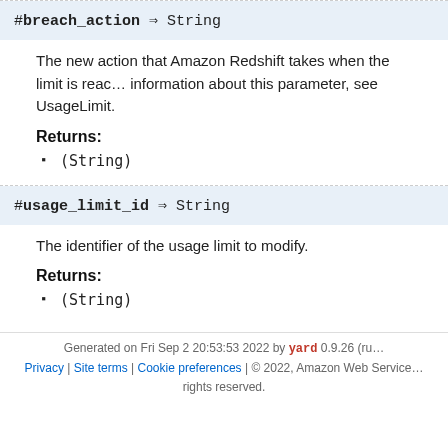#breach_action ⇒ String
The new action that Amazon Redshift takes when the limit is reached. For more information about this parameter, see UsageLimit.
Returns:
(String)
#usage_limit_id ⇒ String
The identifier of the usage limit to modify.
Returns:
(String)
Generated on Fri Sep 2 20:53:53 2022 by yard 0.9.26 (ruby) | Privacy | Site terms | Cookie preferences | © 2022, Amazon Web Services, Inc. or its affiliates. All rights reserved.